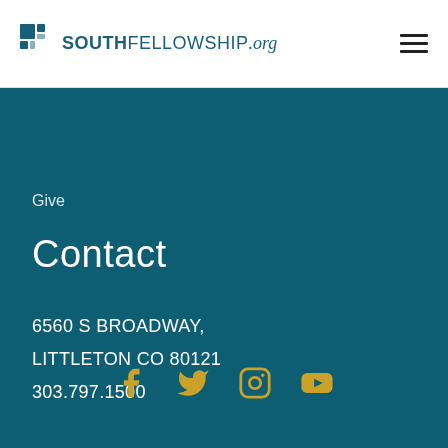[Figure (logo): South Fellowship .org logo with icon and hamburger menu]
Give
Contact
6560 S BROADWAY,
LITTLETON CO 80121
303.797.1500
[Figure (infographic): Social media icons: Facebook, Twitter, Instagram, YouTube in gold/yellow color]